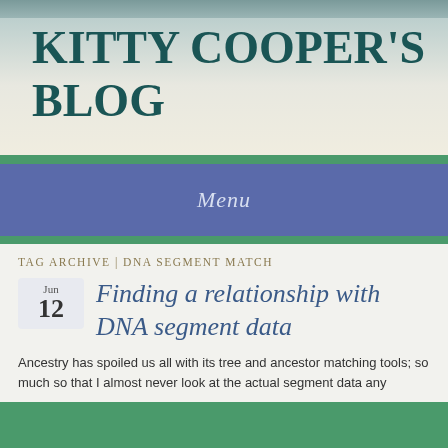KITTY COOPER'S BLOG
Menu
TAG ARCHIVE | DNA SEGMENT MATCH
Finding a relationship with DNA segment data
Ancestry has spoiled us all with its tree and ancestor matching tools; so much so that I almost never look at the actual segment data any